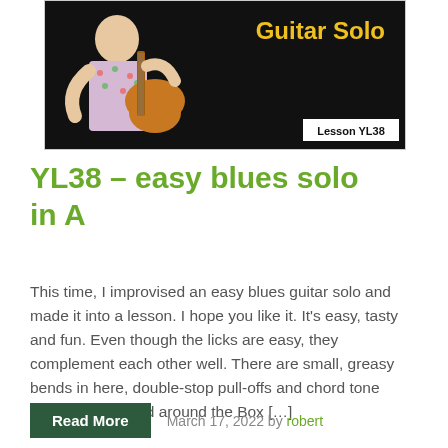[Figure (photo): Thumbnail image of person playing guitar on dark background with yellow bold text 'Guitar Solo' and a white badge reading 'Lesson YL38']
YL38 – easy blues solo in A
This time, I improvised an easy blues guitar solo and made it into a lesson. I hope you like it. It's easy, tasty and fun. Even though the licks are easy, they complement each other well. There are small, greasy bends in here, double-stop pull-offs and chord tone licks. It's all based around the Box […]
Read More   March 17, 2022 by robert